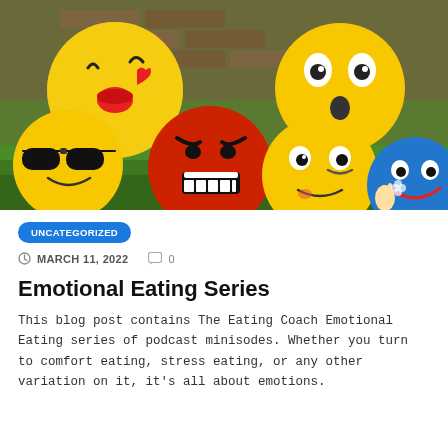[Figure (photo): A photo of several emoji-faced ball toys on green grass: a kiss emoji, a wide-eyed surprised emoji, a cool sunglasses emoji, an angry red emoji, a winking/smirking emoji, and a blue happy emoji with peace sign.]
UNCATEGORIZED
MARCH 11, 2022   0
Emotional Eating Series
This blog post contains The Eating Coach Emotional Eating series of podcast minisodes. Whether you turn to comfort eating, stress eating, or any other variation on it, it's all about emotions.